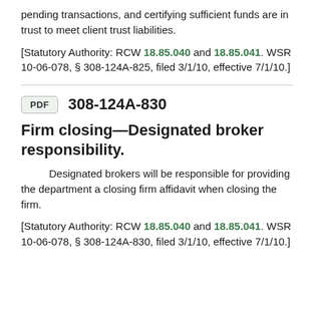pending transactions, and certifying sufficient funds are in trust to meet client trust liabilities.
[Statutory Authority: RCW 18.85.040 and 18.85.041. WSR 10-06-078, § 308-124A-825, filed 3/1/10, effective 7/1/10.]
308-124A-830
Firm closing—Designated broker responsibility.
Designated brokers will be responsible for providing the department a closing firm affidavit when closing the firm.
[Statutory Authority: RCW 18.85.040 and 18.85.041. WSR 10-06-078, § 308-124A-830, filed 3/1/10, effective 7/1/10.]